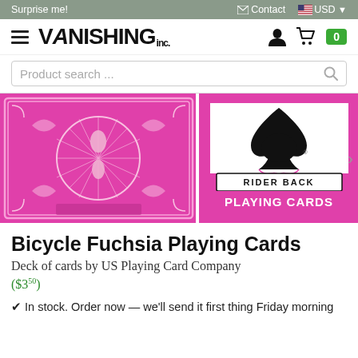Surprise me! | Contact | USD
VANISHING inc. — navigation, cart (0)
Product search ...
[Figure (photo): Two images of Bicycle Fuchsia Playing Cards: left shows ornate pink card back design, right shows the Rider Back spade ace face with 'RIDER BACK PLAYING CARDS' text on a pink and white card face.]
Bicycle Fuchsia Playing Cards
Deck of cards by US Playing Card Company ($3.50)
✔ In stock. Order now — we'll send it first thing Friday morning